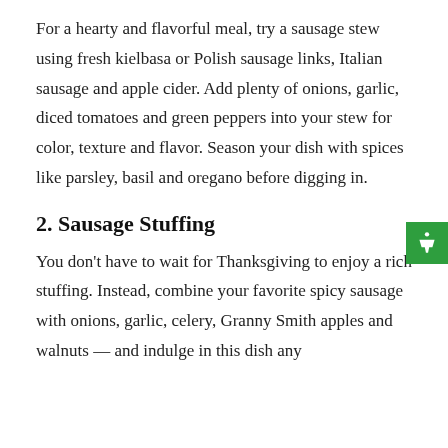For a hearty and flavorful meal, try a sausage stew using fresh kielbasa or Polish sausage links, Italian sausage and apple cider. Add plenty of onions, garlic, diced tomatoes and green peppers into your stew for color, texture and flavor. Season your dish with spices like parsley, basil and oregano before digging in.
2. Sausage Stuffing
You don't have to wait for Thanksgiving to enjoy a rich stuffing. Instead, combine your favorite spicy sausage with onions, garlic, celery, Granny Smith apples and walnuts — and indulge in this dish any